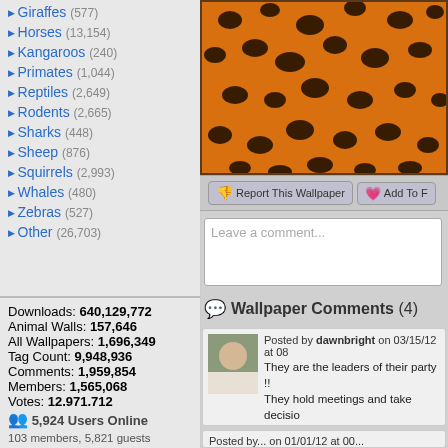Giraffes (577)
Horses (13,154)
Kangaroos (240)
Primates (1,044)
Reptiles (2,649)
Rodents (2,665)
Sharks (448)
Sheep (876)
Squirrels (2,993)
Whales (480)
Zebras (527)
Other (26,703)
Downloads: 640,129,772
Animal Walls: 157,646
All Wallpapers: 1,696,349
Tag Count: 9,948,936
Comments: 1,959,854
Members: 1,565,068
Votes: 12,971,712
5,924 Users Online
103 members, 5,821 guests
AlvaradoSulwen, Anderlecht, artinconstruction, Astro, BestPsychic000, bmpressurewashing2, Boatent98, boliou, brandbajade, bridgecounseling, brighterfinance, CarrollDentistry, cell-phone-hacking, chatonfragile, Cleaners567, ColbyRichardson,
[Figure (photo): Cheetah/leopard fur pattern wallpaper close-up]
Report This Wallpaper   Add To F...
Leave a comment...
Wallpaper Comments (4)
Posted by dawnbright on 03/15/12 at 08...
They are the leaders of their party !!
They hold meetings and take decisi...
Regarding their development and pr...
Tamicon ! The moon and stars shine...
When they meet to take decisions !!...
They look like beautiful birds of same...
Posted by... on 01/01/12 at 00...